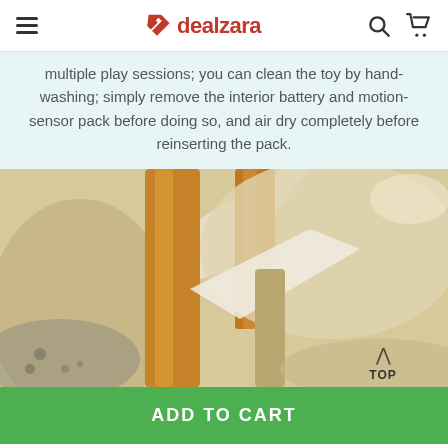dealzara
multiple play sessions; you can clean the toy by hand-washing; simply remove the interior battery and motion-sensor pack before doing so, and air dry completely before reinserting the pack.
[Figure (photo): Close-up photo of a plush/fabric toy showing textured fabric details, with orange/tan and white/cream colored material visible]
ADD TO CART